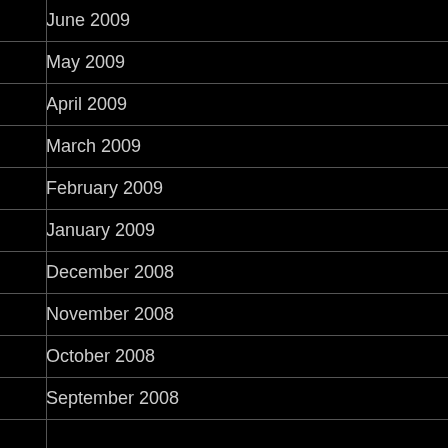June 2009
May 2009
April 2009
March 2009
February 2009
January 2009
December 2008
November 2008
October 2008
September 2008